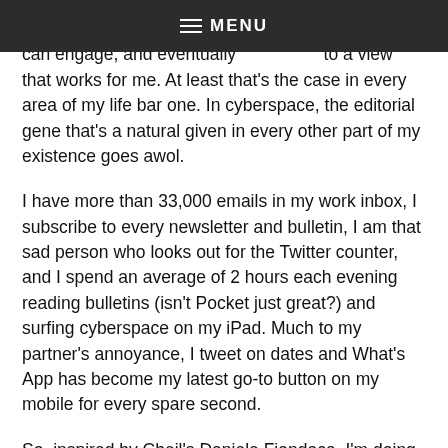MENU
life, who challenge and discuss and debate so that I can engage, and eventually commit to a view that works for me. At least that's the case in every area of my life bar one. In cyberspace, the editorial gene that's a natural given in every other part of my existence goes awol.
I have more than 33,000 emails in my work inbox, I subscribe to every newsletter and bulletin, I am that sad person who looks out for the Twitter counter, and I spend an average of 2 hours each evening reading bulletins (isn't Pocket just great?) and surfing cyberspace on my iPad. Much to my partner's annoyance, I tweet on dates and What's App has become my latest go-to button on my mobile for every spare second.
So, inspired by Cheil's Daniele Fiandaca, I'm doing a